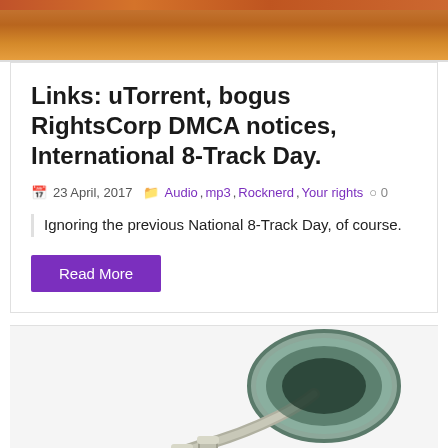[Figure (photo): Top portion of a photograph showing what appears to be wooden/orange-toned objects, partial image cropped at top of page]
Links: uTorrent, bogus RightsCorp DMCA notices, International 8-Track Day.
23 April, 2017  Audio, mp3, Rocknerd, Your rights  0
Ignoring the previous National 8-Track Day, of course.
Read More
[Figure (photo): Bottom portion of a photograph showing a trumpet or bugle instrument with a metallic/greenish bell]